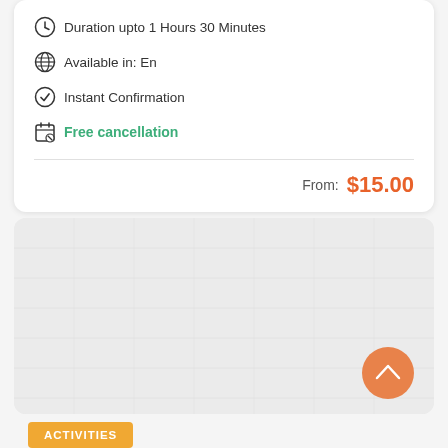Duration upto 1 Hours 30 Minutes
Available in: En
Instant Confirmation
Free cancellation
From: $15.00
[Figure (other): Gray placeholder image area with a salmon/orange scroll-to-top circular button in the bottom right corner]
ACTIVITIES